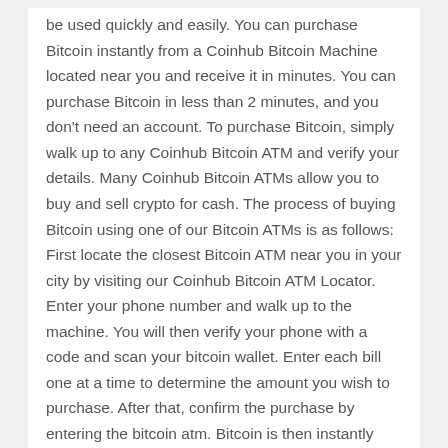be used quickly and easily. You can purchase Bitcoin instantly from a Coinhub Bitcoin Machine located near you and receive it in minutes. You can purchase Bitcoin in less than 2 minutes, and you don't need an account. To purchase Bitcoin, simply walk up to any Coinhub Bitcoin ATM and verify your details. Many Coinhub Bitcoin ATMs allow you to buy and sell crypto for cash. The process of buying Bitcoin using one of our Bitcoin ATMs is as follows: First locate the closest Bitcoin ATM near you in your city by visiting our Coinhub Bitcoin ATM Locator. Enter your phone number and walk up to the machine. You will then verify your phone with a code and scan your bitcoin wallet. Enter each bill one at a time to determine the amount you wish to purchase. After that, confirm the purchase by entering the bitcoin atm. Bitcoin is then instantly sent to your wallet. The daily buying limit is $25,000. There are Bitcoin Machines located in major cities across the